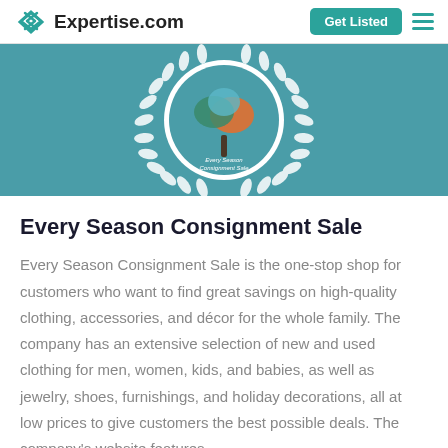Expertise.com
[Figure (logo): Every Season Consignment Sale badge with laurel wreath and colorful tree logo on teal background]
Every Season Consignment Sale
Every Season Consignment Sale is the one-stop shop for customers who want to find great savings on high-quality clothing, accessories, and décor for the whole family. The company has an extensive selection of new and used clothing for men, women, kids, and babies, as well as jewelry, shoes, furnishings, and holiday decorations, all at low prices to give customers the best possible deals. The company's website features